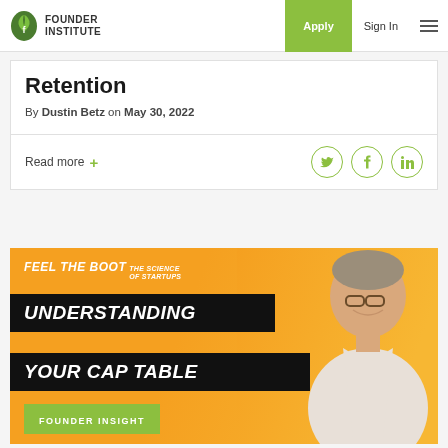Founder Institute | Apply | Sign In
Retention
By Dustin Betz on May 30, 2022
Read more +
[Figure (screenshot): Founder Institute banner image showing 'Feel the Boot – The Science of Startups' with text 'UNDERSTANDING YOUR CAP TABLE' and 'FOUNDER INSIGHT', featuring a man in a white shirt on an orange background]